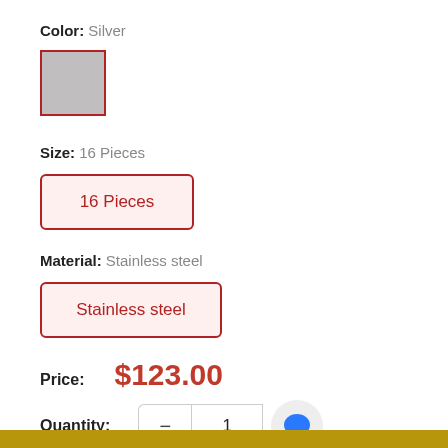Color: Silver
[Figure (other): Silver color swatch square with red border]
Size: 16 Pieces
[Figure (other): Button with red border and pink background showing '16 Pieces' in red text]
Material: Stainless steel
[Figure (other): Button with red border and pink background showing 'Stainless steel' in red text]
Price: $123.00
Quantity: 1